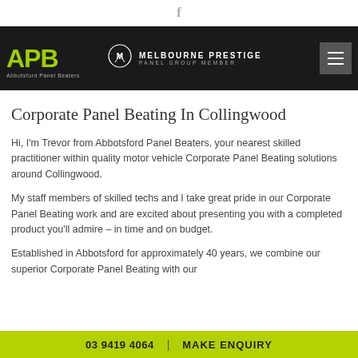[Figure (logo): Facebook icon (f) in gray at top center]
[Figure (logo): Abbotsford Panel Beaters (APB) logo in yellow-green on dark background with Melbourne Prestige Panel Group Member text and circular badge, plus hamburger menu button on right]
Corporate Panel Beating In Collingwood
Hi, I'm Trevor from Abbotsford Panel Beaters, your nearest skilled practitioner within quality motor vehicle Corporate Panel Beating solutions around Collingwood.
My staff members of skilled techs and I take great pride in our Corporate Panel Beating work and are excited about presenting you with a completed product you'll admire – in time and on budget.
Established in Abbotsford for approximately 40 years, we combine our superior Corporate Panel Beating with our
03 9419 4064  |  MAKE ENQUIRY